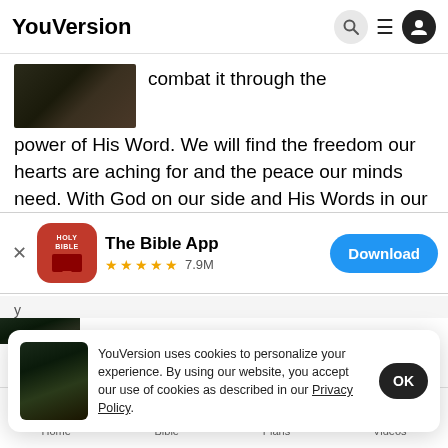YouVersion
combat it through the power of His Word. We will find the freedom our hearts are aching for and the peace our minds need. With God on our side and His Words in our hearts and minds, we will overcome our fears!
[Figure (screenshot): App store banner for The Bible App with Holy Bible icon, 5-star rating 7.9M reviews, and Download button]
YouVersion uses cookies to personalize your experience. By using our website, you accept our use of cookies as described in our Privacy Policy.
Home  Bible  Plans  Videos